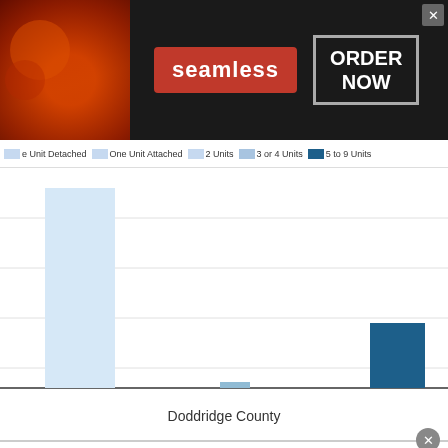[Figure (screenshot): Seamless food delivery advertisement banner with pizza image, seamless logo in red, and 'ORDER NOW' call to action button]
[Figure (bar-chart): Partial bar chart showing housing unit types for Doddridge County with a tall light blue bar at left and a dark teal bar at far right]
Doddridge County
[Figure (screenshot): Advertisement: '3 Steps to Tell a Slot Might Be Close to' from daily-winners.com with photo of person and navigation arrow button]